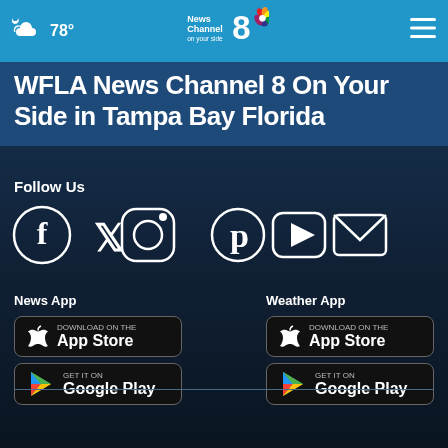☁ 78° — News Channel 8 On Your Side — ≡
WFLA News Channel 8 On Your Side in Tampa Bay Florida
Follow Us
[Figure (illustration): Row of social media icons: Facebook, Twitter, Instagram, Pinterest, YouTube, Email]
News App
[Figure (illustration): Download on the App Store button (black)]
[Figure (illustration): Get it on Google Play button (black)]
Weather App
[Figure (illustration): Download on the App Store button (black)]
[Figure (illustration): Get it on Google Play button (black)]